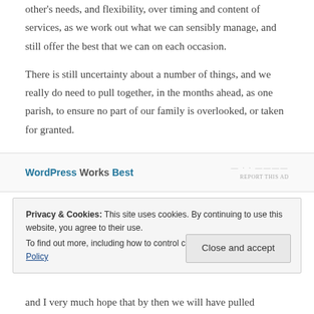other's needs, and flexibility, over timing and content of services, as we work out what we can sensibly manage, and still offer the best that we can on each occasion.
There is still uncertainty about a number of things, and we really do need to pull together, in the months ahead, as one parish, to ensure no part of our family is overlooked, or taken for granted.
[Figure (other): WordPress Works Best advertisement banner with 'REPORT THIS AD' text]
Privacy & Cookies: This site uses cookies. By continuing to use this website, you agree to their use. To find out more, including how to control cookies, see here: Cookie Policy
and I very much hope that by then we will have pulled